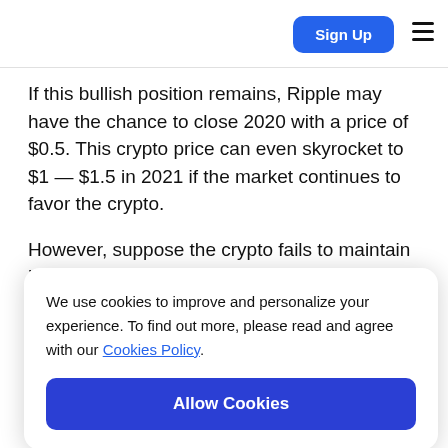Sign Up
If this bullish position remains, Ripple may have the chance to close 2020 with a price of $0.5. This crypto price can even skyrocket to $1 — $1.5 in 2021 if the market continues to favor the crypto.
However, suppose the crypto fails to maintain its position and falls below the ALMA. In that case, the C...
We use cookies to improve and personalize your experience. To find out more, please read and agree with our Cookies Policy.
Allow Cookies
So, the ripple price prediction 2022 is not so